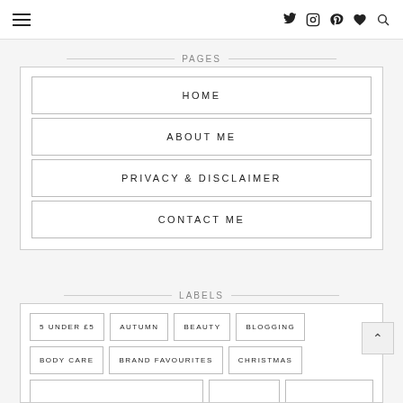Navigation bar with hamburger menu and social icons: Twitter, Instagram, Pinterest, Heart, Search
PAGES
HOME
ABOUT ME
PRIVACY & DISCLAIMER
CONTACT ME
LABELS
5 UNDER £5
AUTUMN
BEAUTY
BLOGGING
BODY CARE
BRAND FAVOURITES
CHRISTMAS